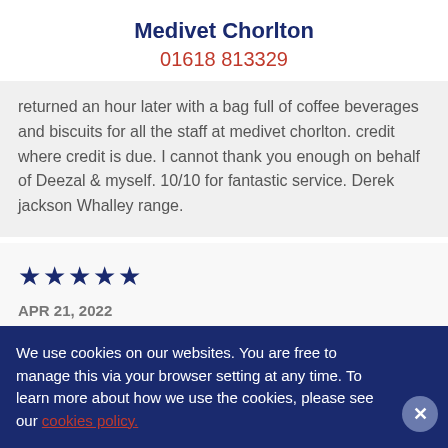Medivet Chorlton
01618 813329
returned an hour later with a bag full of coffee beverages and biscuits for all the staff at medivet chorlton. credit where credit is due. I cannot thank you enough on behalf of Deezal & myself. 10/10 for fantastic service. Derek jackson Whalley range.
★★★★★
APR 21, 2022
We use cookies on our websites. You are free to manage this via your browser setting at any time. To learn more about how we use the cookies, please see our cookies policy.